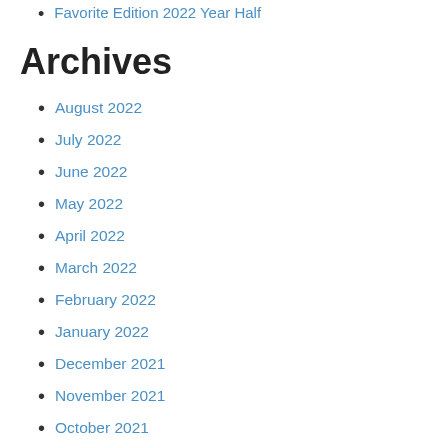Favorite Edition 2022 Year Half
Archives
August 2022
July 2022
June 2022
May 2022
April 2022
March 2022
February 2022
January 2022
December 2021
November 2021
October 2021
September 2021
August 2021
July 2021